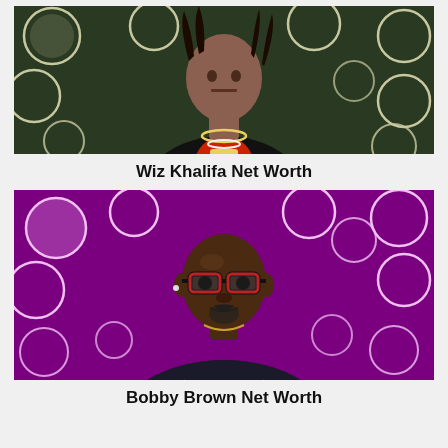[Figure (photo): Photo of Wiz Khalifa in a black suit with red shirt and gold chain necklaces, standing in front of a dark green backdrop covered with repeating white cartoon meme-face logos]
Wiz Khalifa Net Worth
[Figure (photo): Photo of Bobby Brown wearing black jacket with gold emblem, glasses, beard, standing in front of a purple backdrop covered with repeating white cartoon meme-face logos]
Bobby Brown Net Worth